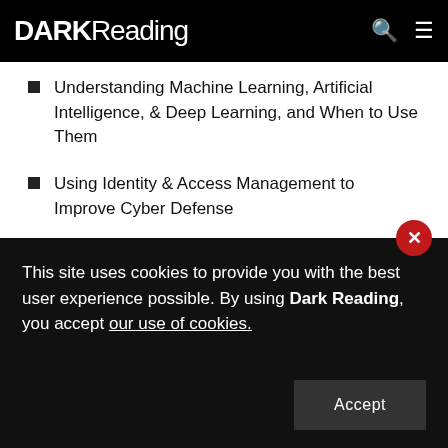DARK Reading
Understanding Machine Learning, Artificial Intelligence, & Deep Learning, and When to Use Them
Using Identity & Access Management to Improve Cyber Defense
More Webinars
Reports
Enterprise Cybersecurity Plans in a Post-Pandemic World…
This site uses cookies to provide you with the best user experience possible. By using Dark Reading, you accept our use of cookies.